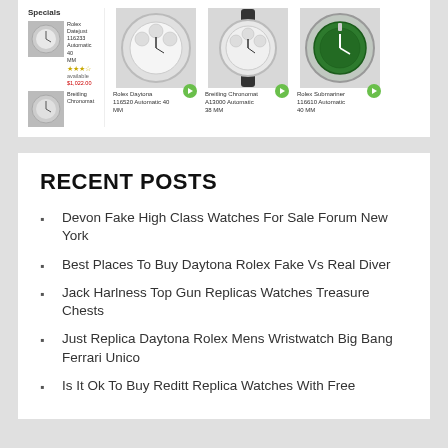[Figure (screenshot): Top section showing watch product cards with 'Specials' label, watch thumbnails, star ratings, availability, prices, and green play/add buttons. Shows multiple Rolex watch models including Daytona Cosmograph and Submariner.]
RECENT POSTS
Devon Fake High Class Watches For Sale Forum New York
Best Places To Buy Daytona Rolex Fake Vs Real Diver
Jack Harlness Top Gun Replicas Watches Treasure Chests
Just Replica Daytona Rolex Mens Wristwatch Big Bang Ferrari Unico
Is It Ok To Buy Reditt Replica Watches With Free